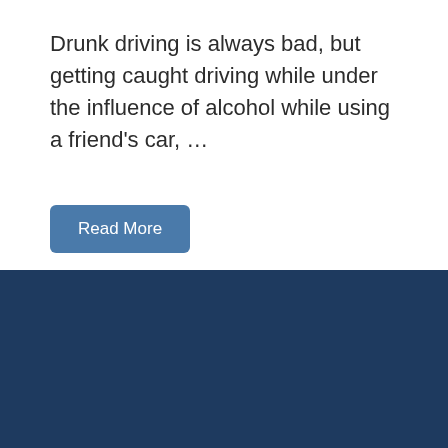Drunk driving is always bad, but getting caught driving while under the influence of alcohol while using a friend's car, …
Read More
ABOUT VICTORVILLE BAIL
Victroville Bail Bonds is different from all other bail bonds companies. We set the bar higher! Trust us to